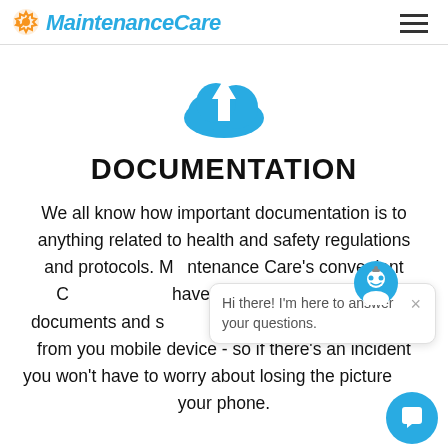MaintenanceCare
[Figure (illustration): Blue cloud with upload arrow icon]
DOCUMENTATION
We all know how important documentation is to anything related to health and safety regulations and protocols. Maintenance Care's convenient C... have a secure ... documents and s... upload images directly from you mobile device - so if there's an incident you won't have to worry about losing the picture... your phone.